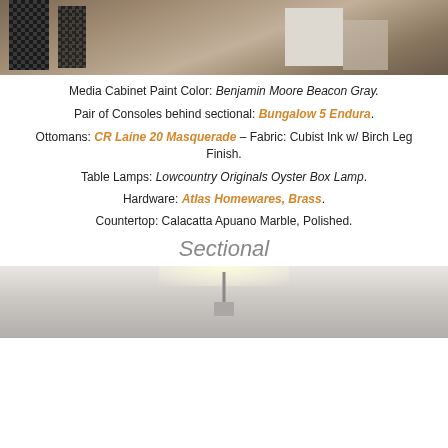[Figure (photo): Interior room photo showing plaid ottomans or furniture pieces, a white cabinet, and wood floor with rug]
Media Cabinet Paint Color: Benjamin Moore Beacon Gray.
Pair of Consoles behind sectional: Bungalow 5 Endura.
Ottomans: CR Laine 20 Masquerade – Fabric: Cubist Ink w/ Birch Leg Finish.
Table Lamps: Lowcountry Originals Oyster Box Lamp.
Hardware: Atlas Homewares, Brass.
Countertop: Calacatta Apuano Marble, Polished.
Sectional
[Figure (photo): Interior room photo showing a bright room with recessed lighting and pendant light]